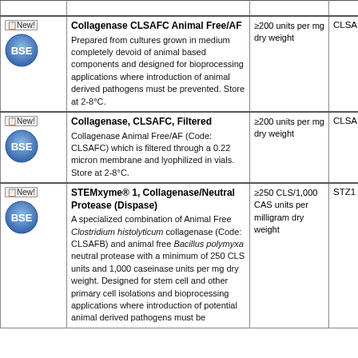| Icons | Product Description | Activity | Code | Sizes |
| --- | --- | --- | --- | --- |
| New! BSE | Collagenase CLSAFC Animal Free/AF
Prepared from cultures grown in medium completely devoid of animal based components and designed for bioprocessing applications where introduction of animal derived pathogens must be prevented. Store at 2-8°C. | ≥200 units per mg dry weight | CLSAFC | 1... |
| New! BSE | Collagenase, CLSAFC, Filtered
Collagenase Animal Free/AF (Code: CLSAFC) which is filtered through a 0.22 micron membrane and lyophilized in vials. Store at 2-8°C. | ≥200 units per mg dry weight | CLSAFCS | 5x... |
| New! BSE | STEMxyme® 1, Collagenase/Neutral Protease (Dispase)
A specialized combination of Animal Free Clostridium histolyticum collagenase (Code: CLSAFB) and animal free Bacillus polymyxa neutral protease with a minimum of 250 CLS units and 1,000 caseinase units per mg dry weight. Designed for stem cell and other primary cell isolations and bioprocessing applications where introduction of potential animal derived pathogens must be... | ≥250 CLS/1,000 CAS units per milligram dry weight | STZ1 | 5x... |